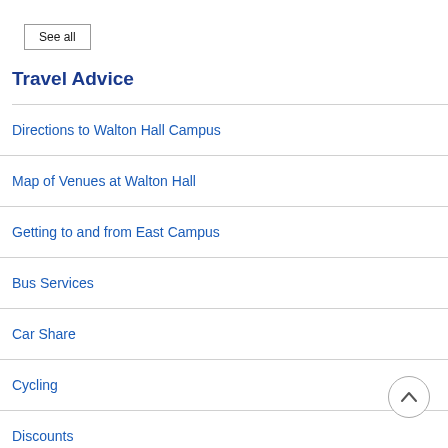See all
Travel Advice
Directions to Walton Hall Campus
Map of Venues at Walton Hall
Getting to and from East Campus
Bus Services
Car Share
Cycling
Discounts
Electric Bikes